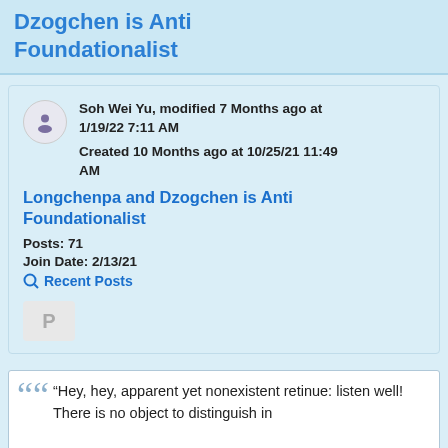Dzogchen is Anti Foundationalist
Soh Wei Yu, modified 7 Months ago at 1/19/22 7:11 AM
Created 10 Months ago at 10/25/21 11:49 AM
Longchenpa and Dzogchen is Anti Foundationalist
Posts: 71
Join Date: 2/13/21
Recent Posts
P
“Hey, hey, apparent yet nonexistent retinue: listen well! There is no object to distinguish in